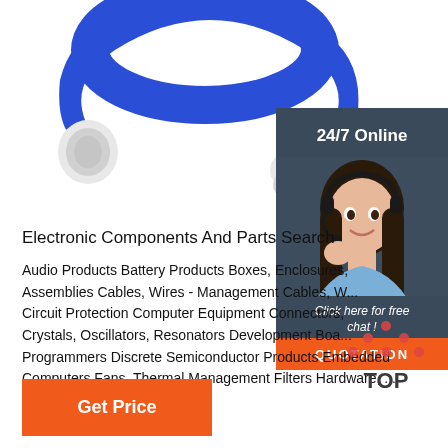[Figure (photo): Blue wireless Bluetooth sport headphone/earphone product photo on white background]
[Figure (photo): 24/7 Online customer service representative - woman with headset smiling, dark background with orange quotation button]
Electronic Components And Parts Search
Audio Products Battery Products Boxes, Enclosures, Assemblies Cables, Wires - Management Cables, W... Circuit Protection Computer Equipment Connectors, Crystals, Oscillators, Resonators Development Boa... Programmers Discrete Semiconductor Products Embedded Computers Fans, Thermal Management Filters Hardware, ...
[Figure (logo): TOP icon with orange dots]
Get Price